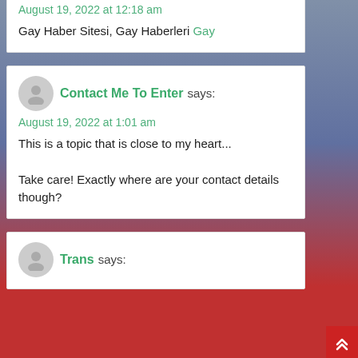August 19, 2022 at 12:18 am
Gay Haber Sitesi, Gay Haberleri Gay
Contact Me To Enter says:
August 19, 2022 at 1:01 am
This is a topic that is close to my heart... Take care! Exactly where are your contact details though?
Trans says: